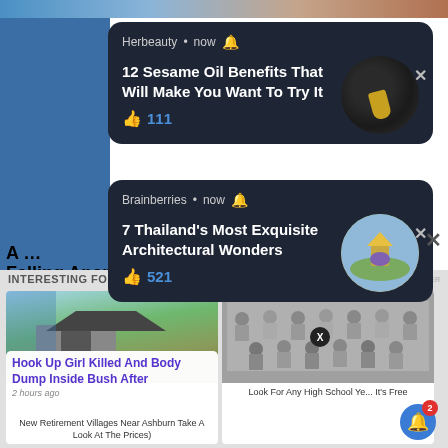[Figure (screenshot): Mobile browser screenshot showing push notification overlays on a webpage. Two dark notification cards from 'Herbeauty' and 'Brainberries', plus 'INTERESTING FOR YOU' content section below with article cards.]
Herbeauty • now 🔔
12 Sesame Oil Benefits That Will Make You Want To Try It
👍 111
Brainberries • now 🔔
7 Thailand's Most Exquisite Architectural Wonders
👍 521
INTERESTING FOR YOU
Hook Up Girl Killed And Body Dump Inside Bush After
2 hours ago
New Retirement Villages Near Ashburn Take A Look At The Prices)
Look For Any High School Ye... It's Free